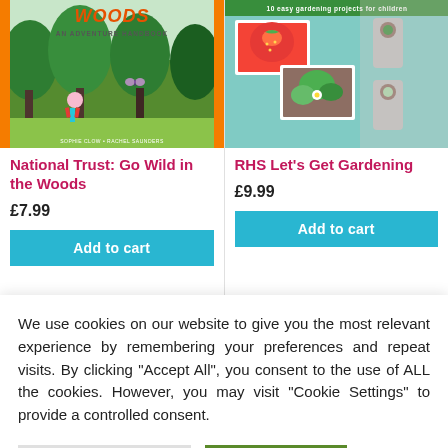[Figure (illustration): Book cover for National Trust: Go Wild in the Woods showing illustrated children in a forest scene with orange border]
[Figure (illustration): Book cover for RHS Let's Get Gardening showing photos of strawberries, plants and gardening projects on teal/yellow background]
National Trust: Go Wild in the Woods
RHS Let's Get Gardening
£7.99
£9.99
Add to cart
Add to cart
We use cookies on our website to give you the most relevant experience by remembering your preferences and repeat visits. By clicking "Accept All", you consent to the use of ALL the cookies. However, you may visit "Cookie Settings" to provide a controlled consent.
Cookie Settings
Accept All